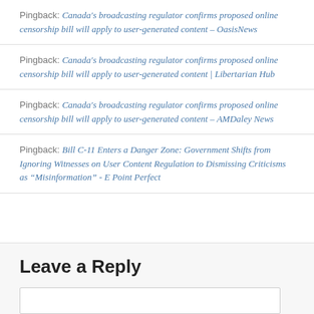Pingback: Canada's broadcasting regulator confirms proposed online censorship bill will apply to user-generated content – OasisNews
Pingback: Canada's broadcasting regulator confirms proposed online censorship bill will apply to user-generated content | Libertarian Hub
Pingback: Canada's broadcasting regulator confirms proposed online censorship bill will apply to user-generated content – AMDaley News
Pingback: Bill C-11 Enters a Danger Zone: Government Shifts from Ignoring Witnesses on User Content Regulation to Dismissing Criticisms as “Misinformation” - E Point Perfect
Leave a Reply